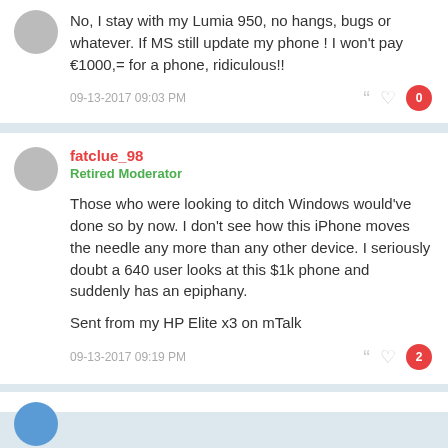No, I stay with my Lumia 950, no hangs, bugs or whatever. If MS still update my phone ! I won't pay €1000,= for a phone, ridiculous!!
09-13-2017 09:03 PM
fatclue_98
Retired Moderator
Those who were looking to ditch Windows would've done so by now. I don't see how this iPhone moves the needle any more than any other device. I seriously doubt a 640 user looks at this $1k phone and suddenly has an epiphany.
Sent from my HP Elite x3 on mTalk
09-13-2017 09:19 PM